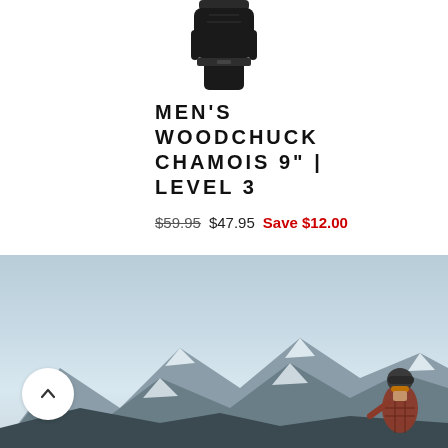[Figure (photo): Partial product image of a dark/black glove or cycling apparel item, cropped at top]
MEN'S WOODCHUCK CHAMOIS 9" | LEVEL 3
$59.95 $47.95 Save $12.00
[Figure (photo): Outdoor mountain scene with blue sky, snow-capped mountain peaks, and a cyclist wearing a helmet and plaid shirt riding in the foreground on the right side]